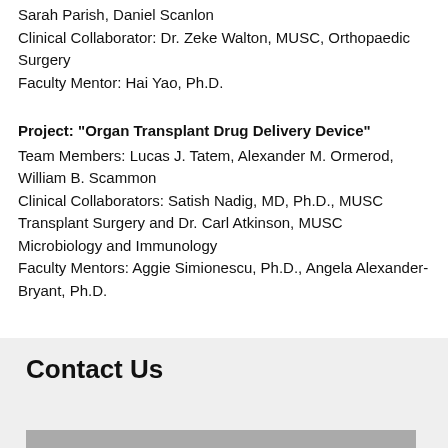Sarah Parish, Daniel Scanlon
Clinical Collaborator: Dr. Zeke Walton, MUSC, Orthopaedic Surgery
Faculty Mentor: Hai Yao, Ph.D.
Project: "Organ Transplant Drug Delivery Device"
Team Members: Lucas J. Tatem, Alexander M. Ormerod, William B. Scammon
Clinical Collaborators: Satish Nadig, MD, Ph.D., MUSC Transplant Surgery and Dr. Carl Atkinson, MUSC Microbiology and Immunology
Faculty Mentors: Aggie Simionescu, Ph.D., Angela Alexander-Bryant, Ph.D.
Contact Us